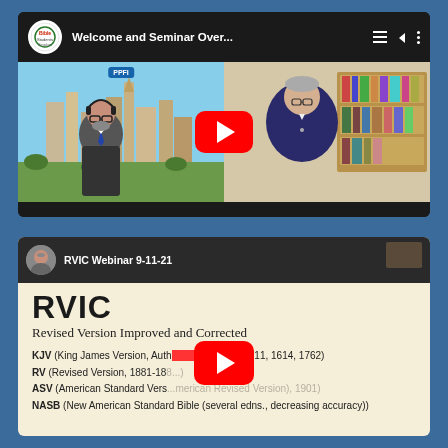[Figure (screenshot): YouTube video embed showing 'Welcome and Seminar Over...' with two men in a split-screen video call, one with headphones in front of a Jerusalem skyline, one in front of a bookshelf. Red YouTube play button overlay. PPFI logo visible.]
[Figure (screenshot): YouTube video embed for 'RVIC Webinar 9-11-21' showing RVIC (Revised Version Improved and Corrected) content with Bible version list: KJV (King James Version, Auth... 3 edns., 1611, 1614, 1762), RV (Revised Version, 1881-18...), ASV (American Standard Vers... merican Revised Version), 1901), NASB (New American Standard Bible (several edns., decreasing accuracy)). Red YouTube play button overlay.]
RVIC
Revised Version Improved and Corrected
KJV (King James Version, Auth... 3 edns., 1611, 1614, 1762)
RV (Revised Version, 1881-18...)
ASV (American Standard Vers...merican Revised Version), 1901)
NASB (New American Standard Bible (several edns., decreasing accuracy))